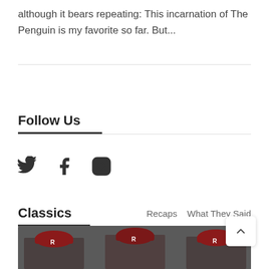although it bears repeating: This incarnation of The Penguin is my favorite so far. But...
Follow Us
[Figure (infographic): Social media icons: Twitter bird, Facebook f, Instagram camera outline]
Classics
Recaps   What They Said
[Figure (photo): Photo strip showing people wearing dark red/maroon baseball caps with R logo]